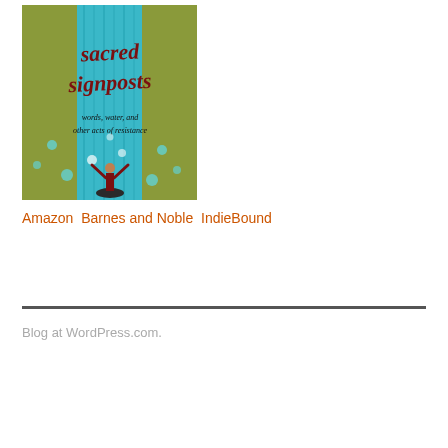[Figure (illustration): Book cover for 'sacred signposts: words, water, and other acts of resistance' — olive/green and teal background with stylized waterfall, red handwritten-style title text, small figure with arms raised at bottom]
Amazon  Barnes and Noble  IndieBound
Blog at WordPress.com.